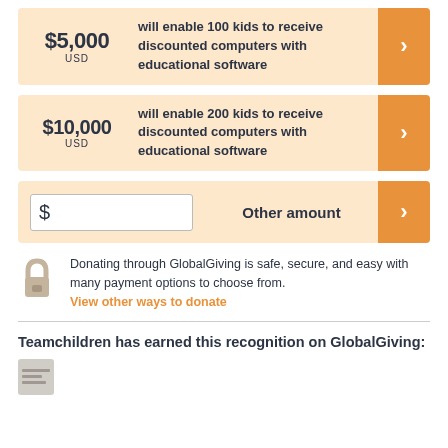$5,000 USD will enable 100 kids to receive discounted computers with educational software
$10,000 USD will enable 200 kids to receive discounted computers with educational software
$ Other amount
Donating through GlobalGiving is safe, secure, and easy with many payment options to choose from. View other ways to donate
Teamchildren has earned this recognition on GlobalGiving: